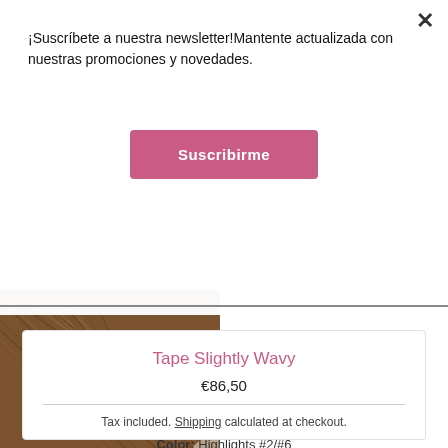¡Suscríbete a nuestra newsletter!Mantente actualizada con nuestras promociones y novedades.
Suscribirme
[Figure (photo): Close-up of slightly wavy brown hair extensions fanning diagonally]
Tape Slightly Wavy
€86,50
Tax included. Shipping calculated at checkout.
Color: Highlights #2/#6